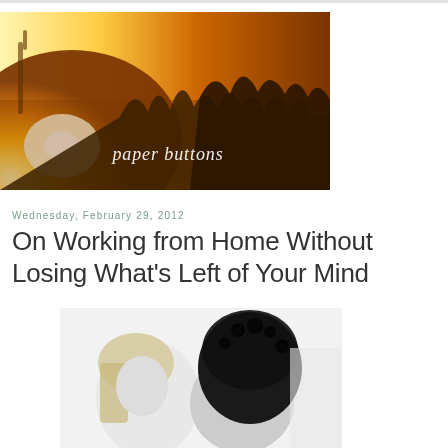[Figure (photo): Warm golden-orange sunset banner photo with trees and a bright sun glare on the left side. Text 'paper buttons' overlaid in white italic font in the lower center.]
Wednesday, February 29, 2012
On Working from Home Without Losing What's Left of Your Mind
[Figure (photo): Black and white photo showing a blonde person on the left and a person wearing a large dark furry hat or wig on the right, obscuring their face.]